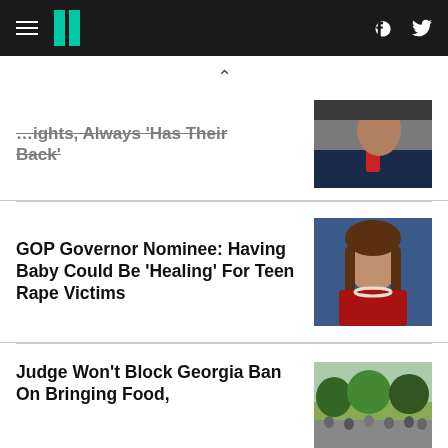HuffPost navigation with hamburger menu, logo, Facebook and Twitter icons
…ights, Always 'Has Their Back'
[Figure (photo): Close-up side profile of a man in a suit with a red tie]
GOP Governor Nominee: Having Baby Could Be 'Healing' For Teen Rape Victims
[Figure (photo): Woman with brown hair in a red outfit looking at the camera]
Judge Won't Block Georgia Ban On Bringing Food,
[Figure (photo): Outdoor crowd of people gathered, trees in background]